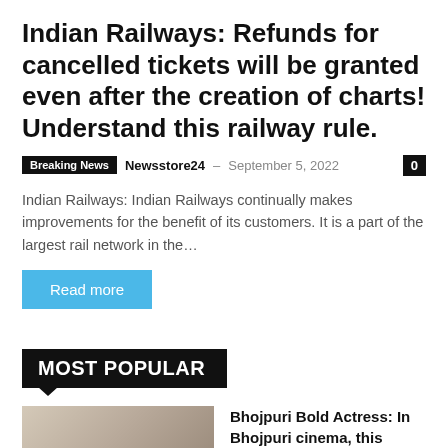Indian Railways: Refunds for cancelled tickets will be granted even after the creation of charts! Understand this railway rule.
Breaking News  Newsstore24 – September 5, 2022  0
Indian Railways: Indian Railways continually makes improvements for the benefit of its customers. It is a part of the largest rail network in the...
Read more
MOST POPULAR
Bhojpuri Bold Actress: In Bhojpuri cinema, this actress goes by the name of Urfi Javed, and she frequently posts daring images on social media.
September 5, 2022